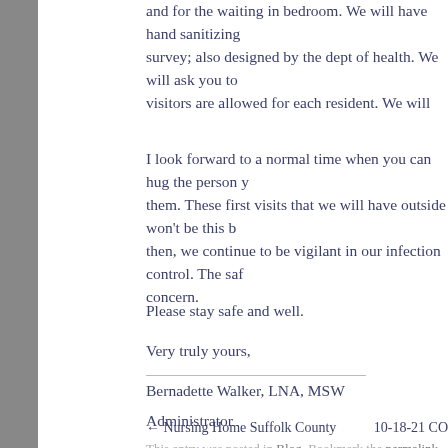and for the waiting in bedroom. We will have hand sanitizing ... survey; also designed by the dept of health. We will ask you to ... visitors are allowed for each resident. We will keep you update...
I look forward to a normal time when you can hug the person y... them. These first visits that we will have outside won't be this b... then, we continue to be vigilant in our infection control. The saf... concern.
Please stay safe and well.
Very truly yours,
Bernadette Walker, LNA, MSW
Administrator
This entry was posted in Blog. Bookmark the permalink.
← Nursing Home Suffolk County    10-18-21 CO...